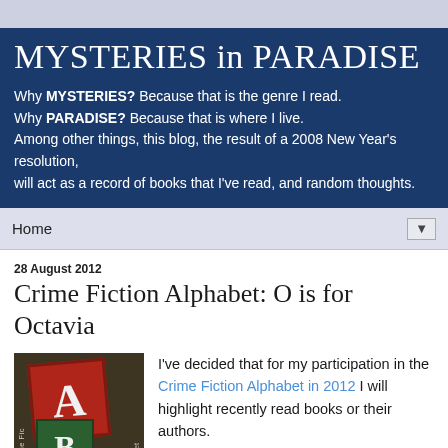MYSTERIES in PARADISE
Why MYSTERIES? Because that is the genre I read.
Why PARADISE? Because that is where I live.
Among other things, this blog, the result of a 2008 New Year's resolution,
will act as a record of books that I've read, and random thoughts.
Home
28 August 2012
Crime Fiction Alphabet: O is for Octavia
[Figure (photo): Photo of alphabet building blocks showing letter A (red block) and letter B (green block) with text on the sides reading 'Crime Fic' and 'Alphabet']
I've decided that for my participation in the Crime Fiction Alphabet in 2012 I will highlight recently read books or their authors.